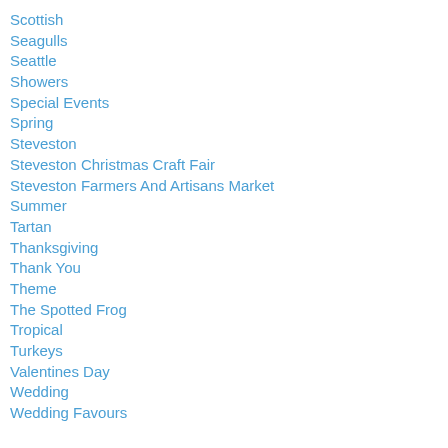Scottish
Seagulls
Seattle
Showers
Special Events
Spring
Steveston
Steveston Christmas Craft Fair
Steveston Farmers And Artisans Market
Summer
Tartan
Thanksgiving
Thank You
Theme
The Spotted Frog
Tropical
Turkeys
Valentines Day
Wedding
Wedding Favours